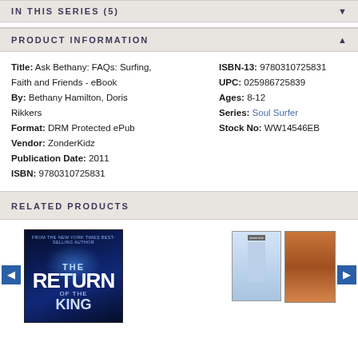IN THIS SERIES (5)
PRODUCT INFORMATION
Title: Ask Bethany: FAQs: Surfing, Faith and Friends - eBook
By: Bethany Hamilton, Doris Rikkers
Format: DRM Protected ePub
Vendor: ZonderKidz
Publication Date: 2011
ISBN: 9780310725831
ISBN-13: 9780310725831
UPC: 025986725839
Ages: 8-12
Series: Soul Surfer
Stock No: WW14546EB
RELATED PRODUCTS
[Figure (photo): Book cover for 'The Return of the...' with dark blue background and glowing light effect]
[Figure (photo): Two small book covers visible on the right side of the related products carousel]